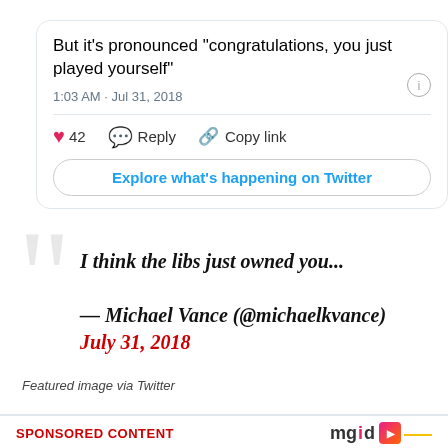[Figure (screenshot): Twitter/X embedded tweet card showing tweet text 'But it's pronounced "congratulations, you just played yourself"', timestamp '1:03 AM · Jul 31, 2018', with heart (42), Reply, and Copy link actions, and an 'Explore what's happening on Twitter' button]
I think the libs just owned you...
— Michael Vance (@michaelkvance) July 31, 2018
Featured image via Twitter
SPONSORED CONTENT